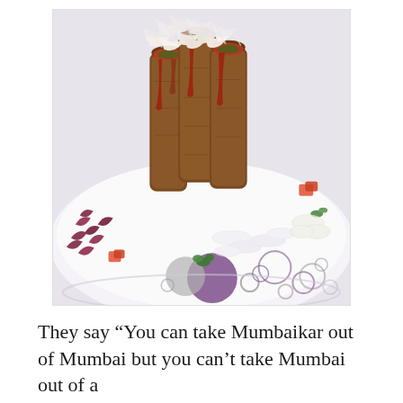[Figure (photo): A plated Indian street food dish — several cylindrical crispy rolls (likely frankie or kathi rolls) stacked upright, topped with shredded white cheese and sauces, served on a decorative white plate with colorful bubble patterns (purple, grey circles), garnished with shredded purple cabbage, diced tomatoes, sliced onions, and fresh green herbs.]
They say “You can take Mumbaikar out of Mumbai but you can’t take Mumbai out of a